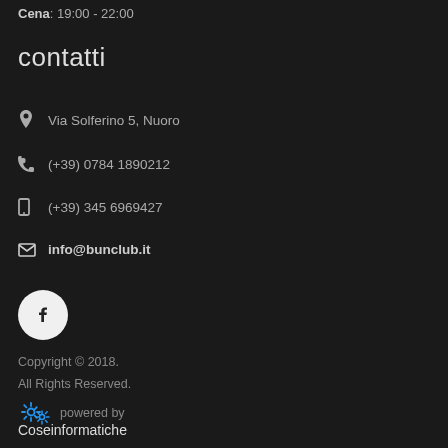Cena: 19:00 - 22:00
contatti
Via Solferino 5, Nuoro
(+39) 0784 1890212
(+39) 345 6969427
info@bunclub.it
[Figure (logo): Facebook icon in white circle button]
Copyright © 2018.
All Rights Reserved.
powered by
Coseinformatiche